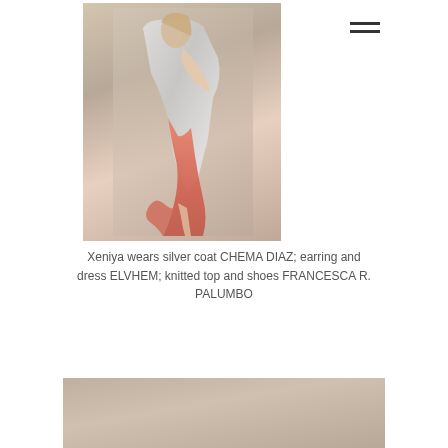[Figure (photo): Fashion photograph of model Xeniya wearing silver coat, earring, dress, knitted top and shoes, posed dynamically against a light background]
Xeniya wears silver coat CHEMA DIAZ; earring and dress ELVHEM; knitted top and shoes FRANCESCA R. PALUMBO
[Figure (photo): Partial fashion photograph cropped at bottom of page, shows muted beige/tan background with partial figure visible]